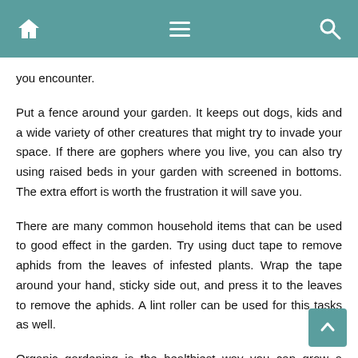Navigation bar with home, menu, and search icons
you encounter.
Put a fence around your garden. It keeps out dogs, kids and a wide variety of other creatures that might try to invade your space. If there are gophers where you live, you can also try using raised beds in your garden with screened in bottoms. The extra effort is worth the frustration it will save you.
There are many common household items that can be used to good effect in the garden. Try using duct tape to remove aphids from the leaves of infested plants. Wrap the tape around your hand, sticky side out, and press it to the leaves to remove the aphids. A lint roller can be used for this tasks as well.
Organic gardening is the healthiest way you can grow a garden. Imagine not having to worry about your children